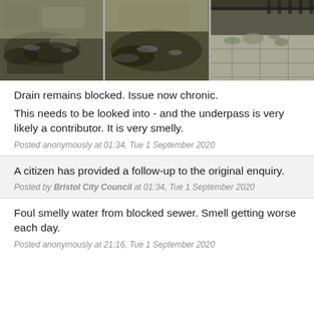[Figure (photo): Three side-by-side photos showing a blocked drain with dark muddy water and wet pavement around an underpass area.]
Drain remains blocked. Issue now chronic.
This needs to be looked into - and the underpass is very likely a contributor. It is very smelly.
Posted anonymously at 01:34, Tue 1 September 2020
A citizen has provided a follow-up to the original enquiry.
Posted by Bristol City Council at 01:34, Tue 1 September 2020
Foul smelly water from blocked sewer. Smell getting worse each day.
Posted anonymously at 21:16, Tue 1 September 2020